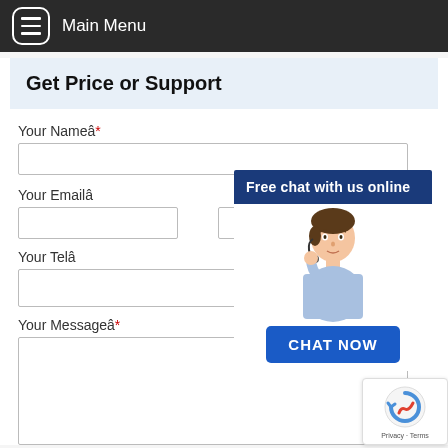Main Menu
Get Price or Support
Your Nameâ*
Your Emailâ
[Figure (illustration): Chat popup with agent illustration and 'Free chat with us online' header and 'CHAT NOW' button]
Your Telâ
Your Messageâ*
[Figure (other): Google reCAPTCHA badge with Privacy and Terms links]